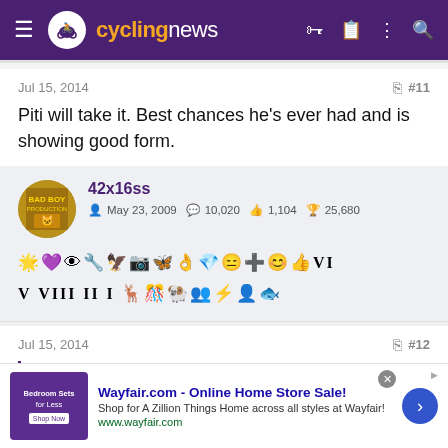cyclingnews
Jul 15, 2014   #11
Piti will take it. Best chances he's ever had and is showing good form.
42x16ss  May 23, 2009  10,020  1,104  25,680
Jul 15, 2014   #12
[Figure (screenshot): Wayfair.com advertisement - Online Home Store Sale!]